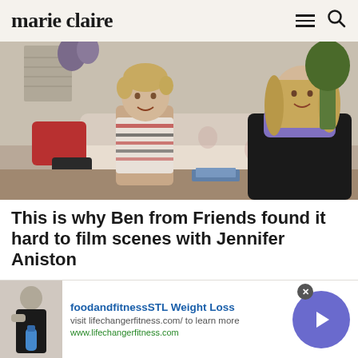marie claire
[Figure (photo): A young boy with blonde hair in a striped shirt facing a woman with shoulder-length blonde hair wearing a black coat with purple turtleneck, both sitting near a floral couch in what appears to be a TV show set (Friends)]
This is why Ben from Friends found it hard to film scenes with Jennifer Aniston
Cole Sprouse (best known for being Ben on Friends) has opened up about why he found filming with Jennifer
[Figure (advertisement): Ad banner: foodandfitnessSTL Weight Loss. Image of person holding blue water bottle. Text: visit lifechanger fitness.com/ to learn more. www.lifechangerfitness.com. Blue circular arrow button on right.]